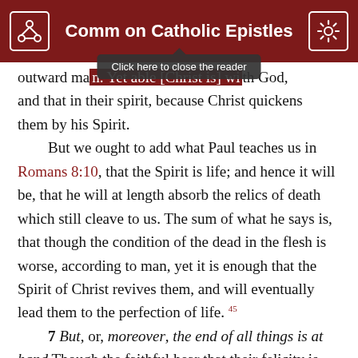Comm on Catholic Epistles
outward man. Yet able [Christ is] with God, and that in their spirit, because Christ quickens them by his Spirit.
But we ought to add what Paul teaches us in Romans 8:10, that the Spirit is life; and hence it will be, that he will at length absorb the relics of death which still cleave to us. The sum of what he says is, that though the condition of the dead in the flesh is worse, according to man, yet it is enough that the Spirit of Christ revives them, and will eventually lead them to the perfection of life. 45
7 But, or, moreover, the end of all things is at hand Though the faithful hear that their felicity is